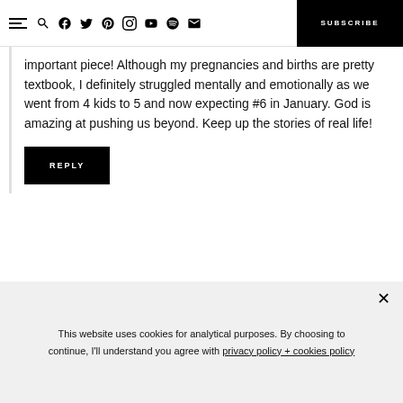SUBSCRIBE
important piece! Although my pregnancies and births are pretty textbook, I definitely struggled mentally and emotionally as we went from 4 kids to 5 and now expecting #6 in January. God is amazing at pushing us beyond. Keep up the stories of real life!
REPLY
This website uses cookies for analytical purposes. By choosing to continue, I'll understand you agree with privacy policy + cookies policy